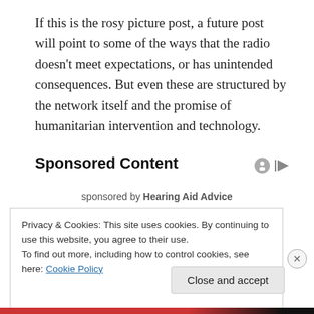If this is the rosy picture post, a future post will point to some of the ways that the radio doesn’t meet expectations, or has unintended consequences. But even these are structured by the network itself and the promise of humanitarian intervention and technology.
Sponsored Content
sponsored by Hearing Aid Advice
Privacy & Cookies: This site uses cookies. By continuing to use this website, you agree to their use.
To find out more, including how to control cookies, see here: Cookie Policy
Close and accept